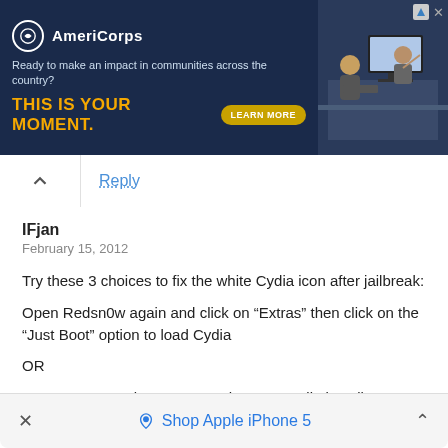[Figure (other): AmeriCorps advertisement banner: dark navy background with logo, tagline 'Ready to make an impact in communities across the country?', headline 'THIS IS YOUR MOMENT.' in gold, 'LEARN MORE' button, and photo of people at computers on right side.]
Reply
IFjan
February 15, 2012

Try these 3 choices to fix the white Cydia icon after jailbreak:

Open Redsn0w again and click on “Extras” then click on the “Just Boot” option to load Cydia

OR

Open CYDIA and tap Manage then tap Cydia installer, tap Modify, then tap Re-install

OR

Open CYDIA and tap on Changes then tap Refresh to update all packages
Shop Apple iPhone 5